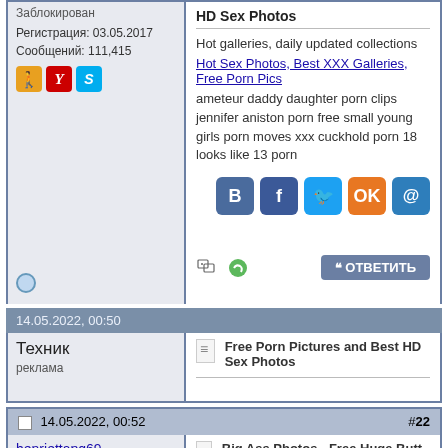Заблокирован
Регистрация: 03.05.2017
Сообщений: 111,415
HD Sex Photos
Hot galleries, daily updated collections
Hot Sex Photos, Best XXX Galleries, Free Porn Pics
ameteur daddy daughter porn clips jennifer aniston porn free small young girls porn moves xxx cuckhold porn 18 looks like 13 porn
14.05.2022, 00:50
Техник
реклама
Free Porn Pictures and Best HD Sex Photos
14.05.2022, 00:52
#22
henriettapq69
Заблокирован
Big Ass Photos - Free Huge Butt Porn, Big Booty Pics